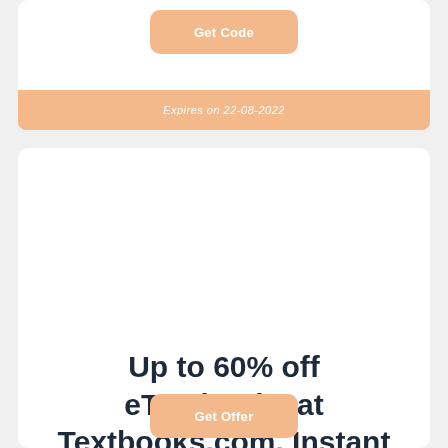Get Code
Expires on 22-08-2022
Up to 60% off eTextbooks at Textbooks.com. Instant access. Search Now >
All Textbooks.com 20 off coupon code
Get Offer